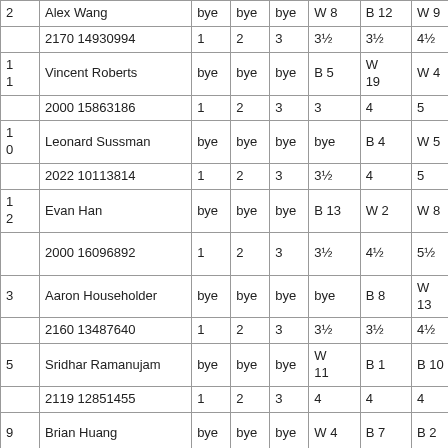| # | Name / ID | R1 | R2 | R3 | R4 | R5 | R6 | R7 | R8 |
| --- | --- | --- | --- | --- | --- | --- | --- | --- | --- |
| 2 | Alex Wang | bye | bye | bye | W 8 | B 12 | W 9 | B 7 |  |
|  | 2170 14930994 | 1 | 2 | 3 | 3½ | 3½ | 4½ | 5½ |  |
| 11 | Vincent Roberts | bye | bye | bye | B 5 | W 19 | W 4 | B 6 |  |
|  | 2000 15863186 | 1 | 2 | 3 | 3 | 4 | 5 | 5½ |  |
| 10 | Leonard Sussman | bye | bye | bye | bye | B 4 | W 5 | W 1 |  |
|  | 2022 10113814 | 1 | 2 | 3 | 3½ | 4 | 5 | 5½ |  |
| 12 | Evan Han | bye | bye | bye | B 13 | W 2 | W 8 | ---- |  |
|  | 2000 16096892 | 1 | 2 | 3 | 3½ | 4½ | 5½ | U 5½ |  |
| 3 | Aaron Householder | bye | bye | bye | bye | B 8 | W 13 | W 17 |  |
|  | 2160 13487640 | 1 | 2 | 3 | 3½ | 3½ | 4½ | 5½ |  |
| 5 | Sridhar Ramanujam | bye | bye | bye | W 11 | B 1 | B 10 | W 21 |  |
|  | 2119 12851455 | 1 | 2 | 3 | 4 | 4 | 4 | 5 |  |
| 9 | Brian Huang | bye | bye | bye | W 4 | B 7 | B 2 | W 14 |  |